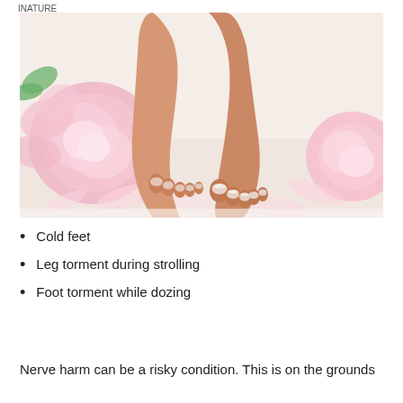INATURE
[Figure (photo): Close-up photo of two human feet with French pedicure nail polish, surrounded by pink peony flowers and petals on a white towel background.]
Cold feet
Leg torment during strolling
Foot torment while dozing
Nerve harm can be a risky condition. This is on the grounds